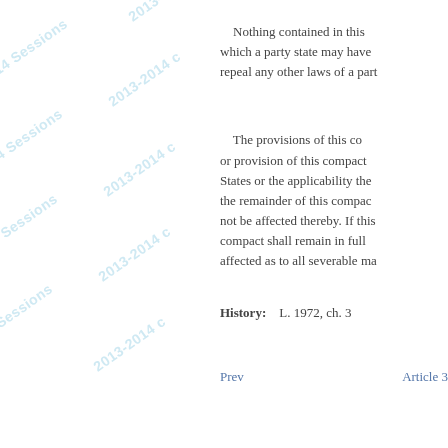Nothing contained in this which a party state may have repeal any other laws of a part
The provisions of this co or provision of this compact States or the applicability the the remainder of this compac not be affected thereby. If this compact shall remain in full affected as to all severable ma
History:    L. 1972, ch. 3
Prev    Article 3